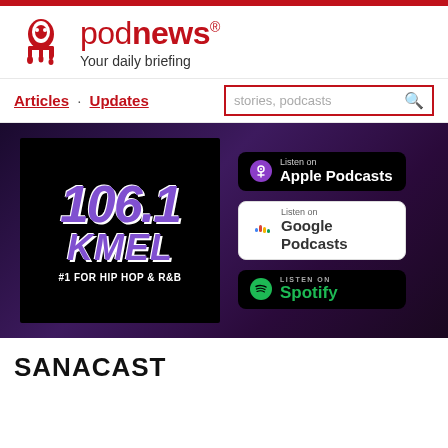podnews — Your daily briefing
Articles · Updates
[Figure (screenshot): 106.1 KMEL #1 FOR HIP HOP & R&B radio station banner with Apple Podcasts, Google Podcasts, and Spotify listen buttons on a dark purple gradient background]
SANACAST